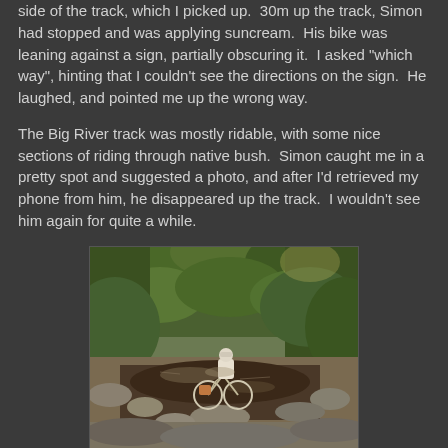side of the track, which I picked up.  30m up the track, Simon had stopped and was applying suncream.  His bike was leaning against a sign, partially obscuring it.  I asked "which way", hinting that I couldn't see the directions on the sign.  He laughed, and pointed me up the wrong way.
The Big River track was mostly ridable, with some nice sections of riding through native bush.  Simon caught me in a pretty spot and suggested a photo, and after I'd retrieved my phone from him, he disappeared up the track.  I wouldn't see him again for quite a while.
[Figure (photo): A cyclist riding a bicycle through a shallow rocky stream or river crossing, surrounded by native bush and trees. The rider is wearing a white top and helmet. The water reflects sunlight, with rocky banks on either side.]